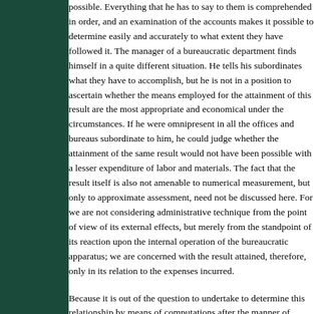possible. Everything that he has to say to them is comprehended in order, and an examination of the accounts makes it possible to determine easily and accurately to what extent they have followed it. The manager of a bureaucratic department finds himself in a quite different situation. He tells his subordinates what they have to accomplish, but he is not in a position to ascertain whether the means employed for the attainment of this result are the most appropriate and economical under the circumstances. If he were omnipresent in all the offices and bureaus subordinate to him, he could judge whether the attainment of the same result would not have been possible with a lesser expenditure of labor and materials. The fact that the result itself is also not amenable to numerical measurement, but only to approximate assessment, need not be discussed here. For we are not considering administrative technique from the point of view of its external effects, but merely from the standpoint of its reaction upon the internal operation of the bureaucratic apparatus; we are concerned with the result attained, therefore, only in its relation to the expenses incurred.
Because it is out of the question to undertake to determine this relationship by means of computations after the manner of commercial bookkeeping, the manager of a bureaucratic organization must provide his subordinates with instructions with which compliance is made obligatory. In these instructions provision is made, in a general way, for the ordinary and regular course of business. In all extraordinary cases, however, before any money is spent, permission must first be obtained from higher authority—a tedious